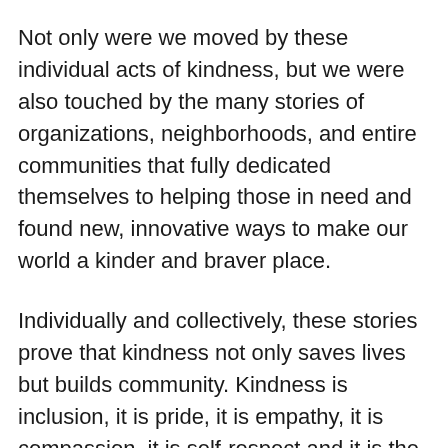Not only were we moved by these individual acts of kindness, but we were also touched by the many stories of organizations, neighborhoods, and entire communities that fully dedicated themselves to helping those in need and found new, innovative ways to make our world a kinder and braver place.
Individually and collectively, these stories prove that kindness not only saves lives but builds community. Kindness is inclusion, it is pride, it is empathy, it is compassion, it is self-respect and it is the guiding light to love. Kindness is always transformational, and its never-ending ripples result in even more kind acts that can change our lives, our communities, and our world.